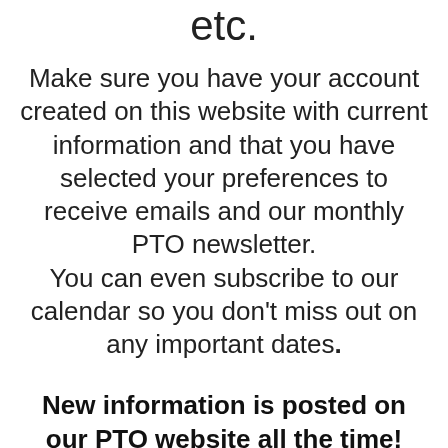etc.
Make sure you have your account created on this website with current information and that you have selected your preferences to receive emails and our monthly PTO newsletter. You can even subscribe to our calendar so you don't miss out on any important dates.
New information is posted on our PTO website all the time!